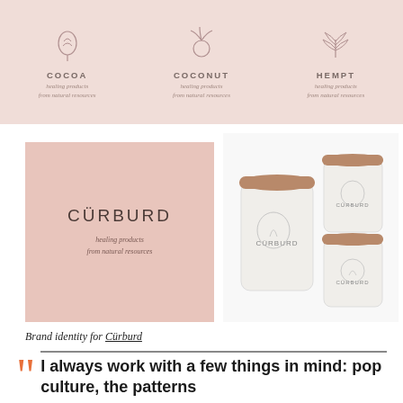[Figure (illustration): Top pink/blush banner with three brand sub-category icons: COCOA, COCONUT, HEMPT, each with a small botanical/icon graphic and tagline 'healing products from natural resources']
[Figure (logo): Pink/blush square brand card with CÜRBURD logo text and tagline 'healing products from natural resources']
[Figure (photo): Product photo showing white ceramic canisters with wooden lids, each branded with CÜRBURD and botanical illustrations]
Brand identity for Cürburd
I always work with a few things in mind: pop culture, the patterns